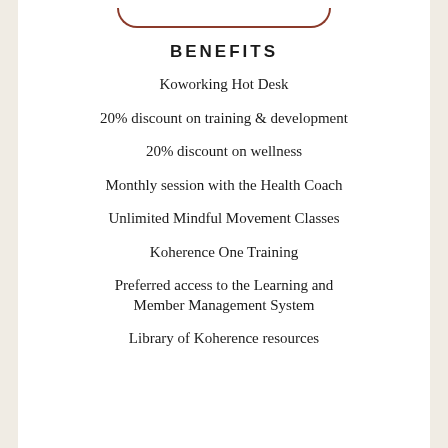BENEFITS
Koworking Hot Desk
20% discount on training & development
20% discount on wellness
Monthly session with the Health Coach
Unlimited Mindful Movement Classes
Koherence One Training
Preferred access to the Learning and Member Management System
Library of Koherence resources